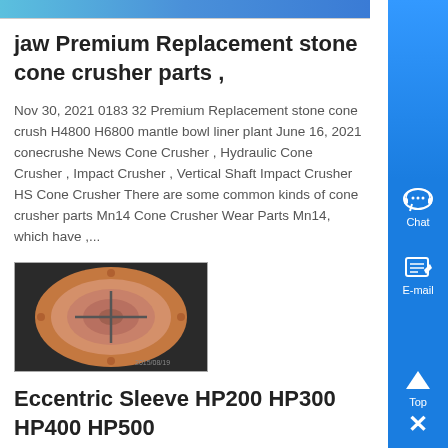[Figure (photo): Blue gradient banner image at the top of the page]
jaw Premium Replacement stone cone crusher parts ,
Nov 30, 2021 0183 32 Premium Replacement stone cone crusher H4800 H6800 mantle bowl liner plant June 16, 2021 conecrusher News Cone Crusher , Hydraulic Cone Crusher , Impact Crusher , Vertical Shaft Impact Crusher HS Cone Crusher There are some common kinds of cone crusher parts Mn14 Cone Crusher Wear Parts Mn14, which have ,...
Know More
[Figure (photo): Photo of a circular cone crusher eccentric sleeve component, copper/bronze colored, viewed from above against a dark background]
Eccentric Sleeve HP200 HP300 HP400 HP500